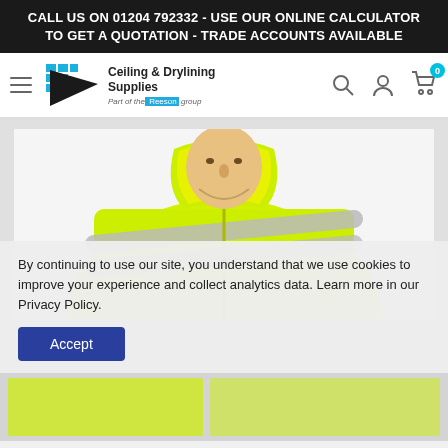CALL US ON 01204 792332 - USE OUR ONLINE CALCULATOR TO GET A QUOTATION - TRADE ACCOUNTS AVAILABLE
[Figure (logo): Ceiling & Drylining Supplies logo with blue geometric triangle/grid icon and company name. Part of the Reeson group.]
[Figure (photo): Man wearing a high-visibility yellow jacket with reflective strips, upper body shown against white background.]
By continuing to use our site, you understand that we use cookies to improve your experience and collect analytics data. Learn more in our Privacy Policy.
Accept